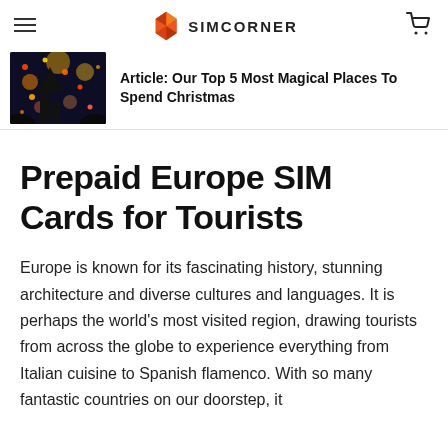SIMCORNER
[Figure (photo): Christmas market with colorful lights and decorations at night]
Article: Our Top 5 Most Magical Places To Spend Christmas
Prepaid Europe SIM Cards for Tourists
Europe is known for its fascinating history, stunning architecture and diverse cultures and languages. It is perhaps the world's most visited region, drawing tourists from across the globe to experience everything from Italian cuisine to Spanish flamenco. With so many fantastic countries on our doorstep, it